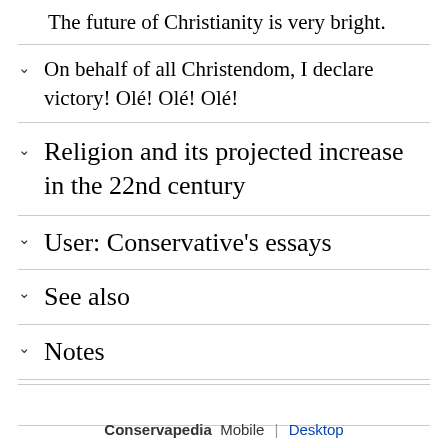The future of Christianity is very bright.
On behalf of all Christendom, I declare victory! Olé! Olé! Olé!
Religion and its projected increase in the 22nd century
User: Conservative's essays
See also
Notes
Conservapedia  Mobile  |  Desktop